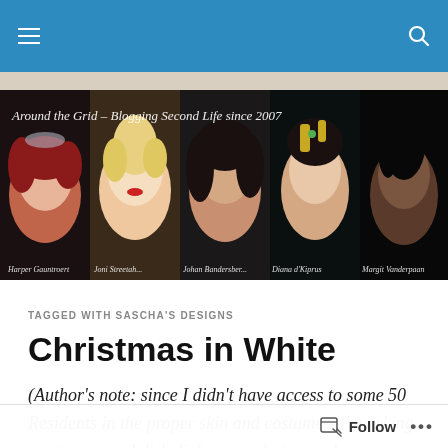Navigation bar with hamburger menu and search icon
[Figure (photo): Website banner for 'Around the Grid – Blogging Second Life since 2007' showing five Second Life avatar portraits in a row: Harper Gaunt..., Joni Streetah..., Johan Bandersber..., Diana d'kprus..., Margit Vanderpaan...]
TAGGED WITH SASCHA'S DESIGNS
Christmas in White
(Author's note: since I didn't have access to some 50 Residents in the proper skin and costumes, I'm asking you to suspend disbelief on my photos, and supplement things with your own imagination. Either road, here's a short
Follow ...